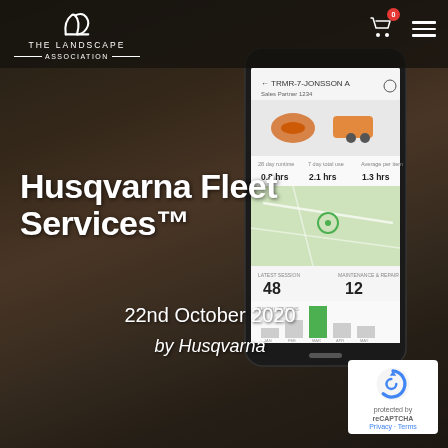[Figure (logo): The Landscape Association logo - stylized 'la' monogram above text 'THE LANDSCAPE ASSOCIATION']
[Figure (screenshot): Husqvarna Fleet Services app screenshot shown on a smartphone held in a hand, with equipment tracking data, map, and usage statistics visible on screen]
Husqvarna Fleet Services™
22nd October 2020
by Husqvarna
[Figure (logo): Google reCAPTCHA badge with Privacy - Terms links]